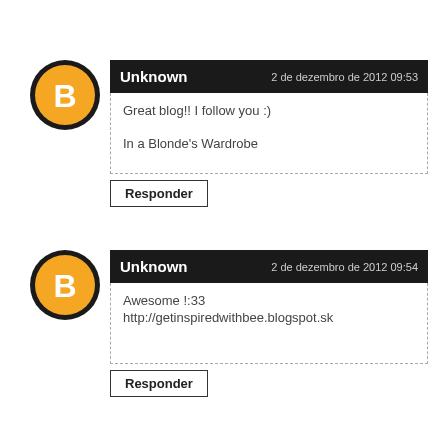[Figure (illustration): Blogger orange avatar icon with B letter, black border circle]
Unknown    2 de dezembro de 2012 09:53
Great blog!! I follow you :)

In a Blonde's Wardrobe
Responder
[Figure (illustration): Blogger orange avatar icon with B letter, black border circle]
Unknown    2 de dezembro de 2012 09:54
Awesome !:33
http://getinspiredwithbee.blogspot.sk
Responder